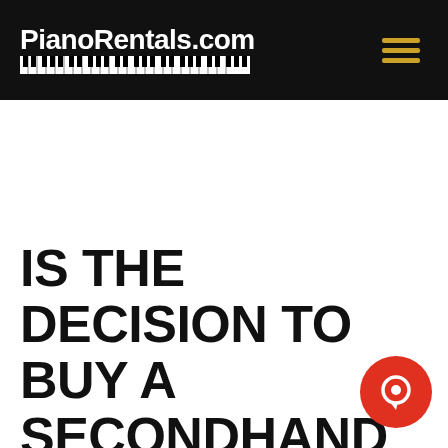PianoRentals.com
IS THE DECISION TO BUY A SECONDHAND PIANO A GOOD ONE?